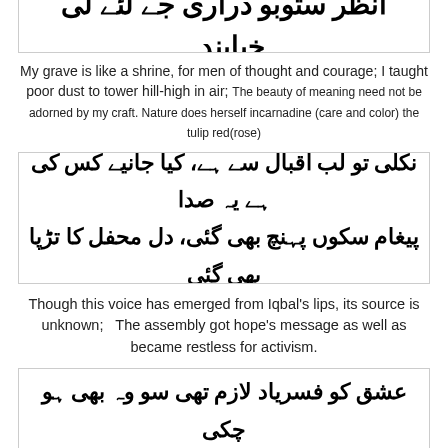[Figure (other): Urdu calligraphy/text in a bordered box at the top (partially visible)]
My grave is like a shrine, for men of thought and courage; I taught poor dust to tower hill-high in air; The beauty of meaning need not be adorned by my craft. Nature does herself incarnadine (care and color) the tulip red(rose)
[Figure (other): Urdu calligraphy/text in a bordered box, two lines of Nastaliq script]
Though this voice has emerged from Iqbal's lips, its source is unknown;  The assembly got hope's message as well as became restless for activism.
[Figure (other): Urdu calligraphy/text in a bordered box at the bottom (partially visible), two lines of Nastaliq script]